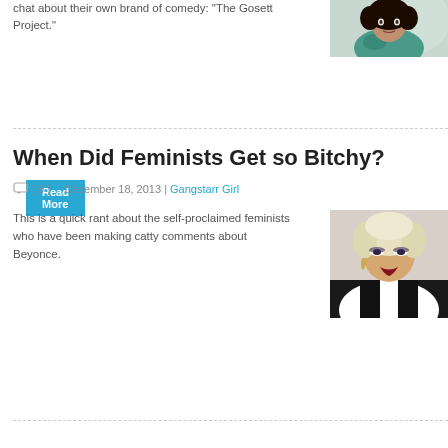chat about their own brand of comedy: "The Gosett Project."
[Figure (photo): Photo of a woman with curly hair in a teal/green top]
Read More
When Did Feminists Get so Bitchy?
[ 0 ]  December 18, 2013 | Gangstarr Girl
This is a quick rant about the self-proclaimed feminists who have been making catty comments about Beyonce.
[Figure (photo): Photo of a blonde woman with dramatic makeup]
Read More